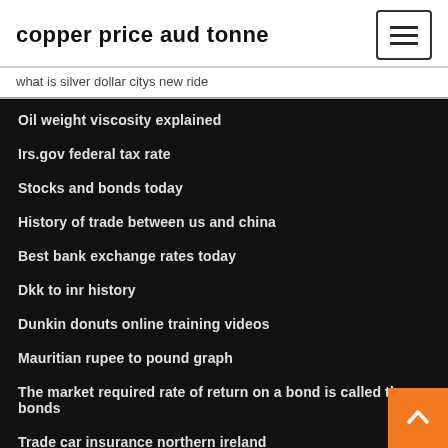copper price aud tonne
what is silver dollar citys new ride
Oil weight viscosity explained
Irs.gov federal tax rate
Stocks and bonds today
History of trade between us and china
Best bank exchange rates today
Dkk to inr history
Dunkin donuts online training videos
Mauritian rupee to pound graph
The market required rate of return on a bond is called the bonds
Trade car insurance northern ireland